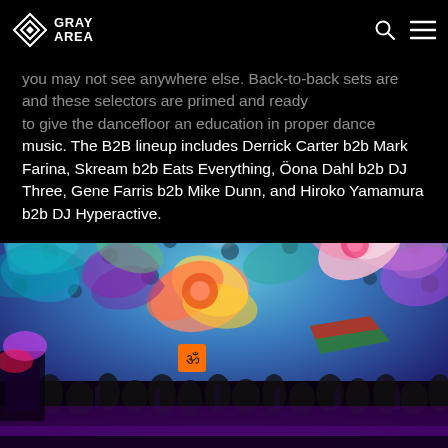Gray Area — navigation bar with logo, search icon, menu icon
you may not see anywhere else. Back-to-back sets are ... and these selectors are primed and ready to give the dancefloor an education in proper dance music. The B2B lineup includes Derrick Carter b2b Mark Farina, Skream b2b Eats Everything, Öona Dahl b2b DJ Three, Gene Farris b2b Mike Dunn, and Hiroko Yamamura b2b DJ Hyperactive.
[Figure (photo): Colorful psychedelic festival tent interior with elaborate UV-lit ceiling decorations including flowers and abstract patterns, crowd visible below, flags and banners, orange Om sign visible.]